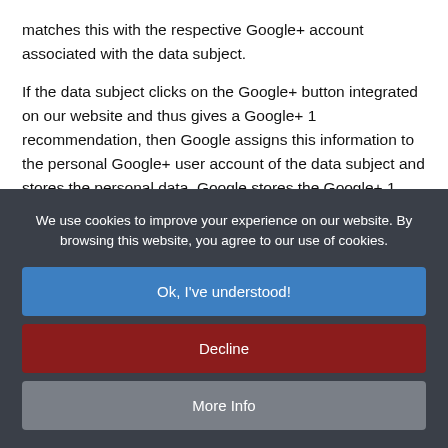matches this with the respective Google+ account associated with the data subject.
If the data subject clicks on the Google+ button integrated on our website and thus gives a Google+ 1 recommendation, then Google assigns this information to the personal Google+ user account of the data subject and stores the personal data. Google stores the Google+ 1 recommendation of the data subject, making it publicly available in accordance with the terms and conditions accepted by the data subject in this regard. Subsequently, a Google+ 1 recommendation given by the data subject on this website together with other personal
We use cookies to improve your experience on our website. By browsing this website, you agree to our use of cookies.
Ok, I've understood!
Decline
More Info